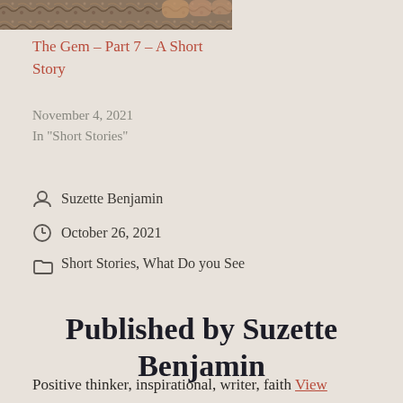[Figure (photo): Partial view of a rocky/earthy texture photograph, cropped at top of page]
The Gem – Part 7 – A Short Story
November 4, 2021
In "Short Stories"
Suzette Benjamin
October 26, 2021
Short Stories, What Do you See
Published by Suzette Benjamin
Positive thinker, inspirational, writer, faith View more posts